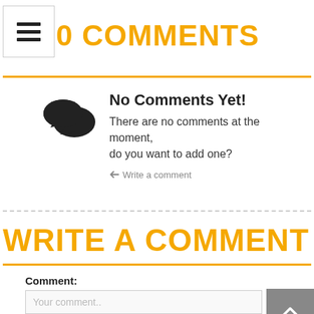[Figure (illustration): Hamburger menu icon (three horizontal lines) in a white box with border]
0 COMMENTS
No Comments Yet!
There are no comments at the moment, do you want to add one?
Write a comment
WRITE A COMMENT
Comment:
Your comment..